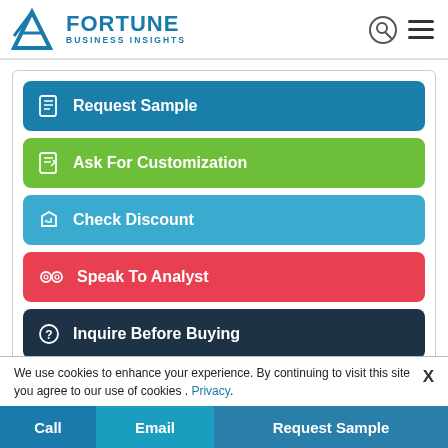Fortune Business Insights
Request Sample
Ask For Customization
Check Discount
Speak To Analyst
Inquire Before Buying
Healthcare Clients
We use cookies to enhance your experience. By continuing to visit this site you agree to our use of cookies . Privacy.
[Figure (logo): 3M company logo]
Call  Email  Request Sample